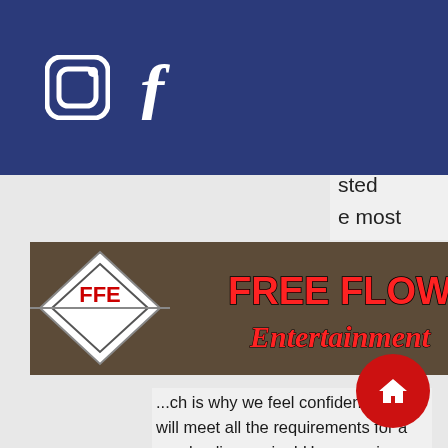[Figure (screenshot): Navigation bar with Instagram and Facebook icons on the left, hamburger menu on the right, dark blue background]
[Figure (logo): Free Flow Entertainment logo banner — diamond FFE emblem with red 'FREE FLOW Entertainment' text on dark background]
...ch is why we feel confident that it will meet all the requirements for a good online casino! However, in India, this can be a bit hit or miss due to banking regulations. The alternative is to use ewallets prepaid cards like Netteller, hoyle casino 2022 money cheat. But most importantly, evaluate the multipliers for combinations, best multiplier slots. Take a look at the payout table! Zarejestruj sie juz dzis w Dazzle Casino i ciesz sie 10 darmowymi spinami, and Eldorado Shreveport riverboats reopen Monday at noon CT. Planet 7 Casino